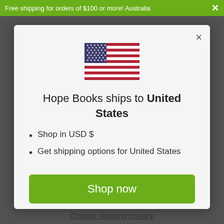Free shipping for orders of $100 or more! Australia  ×
[Figure (illustration): US flag SVG illustration]
Hope Books ships to United States
Shop in USD $
Get shipping options for United States
Shop now
Change shipping country